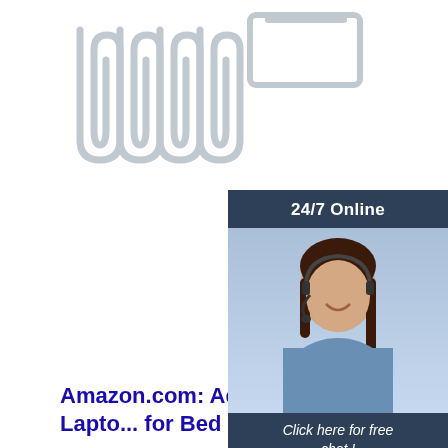[Figure (photo): Metal paper clips arranged in a row on white background]
[Figure (infographic): 24/7 Online chat widget with a customer service woman wearing a headset, dark blue background, orange QUOTATION button and 'Click here for free chat!' text]
[Figure (logo): TOP logo with orange dots arranged in a triangle above the word TOP]
Amazon.com: Adjustable Laptop ... for Bed - Portable ...
Buy Adjustable Laptop Desk for Bed - Standing Table with Foldable Legs - Height Adjustable Lap Desk for Bed, Sofa, Floor - Folding Tray Stand for Computer, Home Work, Writing, and Eating - Gray: Stands - Amazon.com FREE DELIVERY possible on